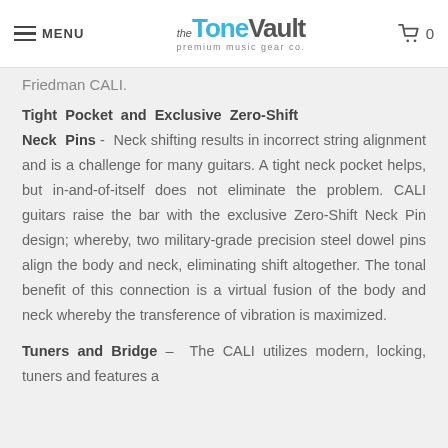MENU | The Tone Vault premium music gear co. | Cart 0
Friedman CALI.
Tight Pocket and Exclusive Zero-Shift Neck Pins - Neck shifting results in incorrect string alignment and is a challenge for many guitars. A tight neck pocket helps, but in-and-of-itself does not eliminate the problem. CALI guitars raise the bar with the exclusive Zero-Shift Neck Pin design; whereby, two military-grade precision steel dowel pins align the body and neck, eliminating shift altogether. The tonal benefit of this connection is a virtual fusion of the body and neck whereby the transference of vibration is maximized.
Tuners and Bridge – The CALI utilizes modern, locking, tuners and features a